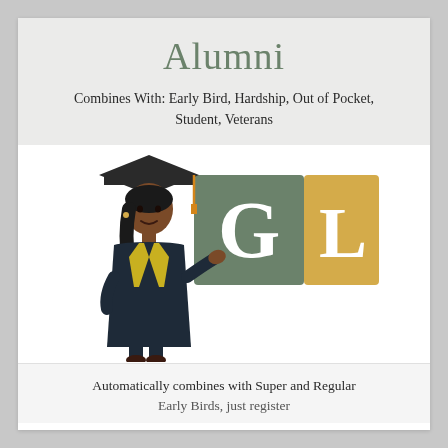Alumni
Combines With: Early Bird, Hardship, Out of Pocket, Student, Veterans
[Figure (illustration): Illustration of a woman in graduation cap and gown pointing at a GL logo (green and yellow squares with G and L letters)]
Automatically combines with Super and Regular Early Birds, just register